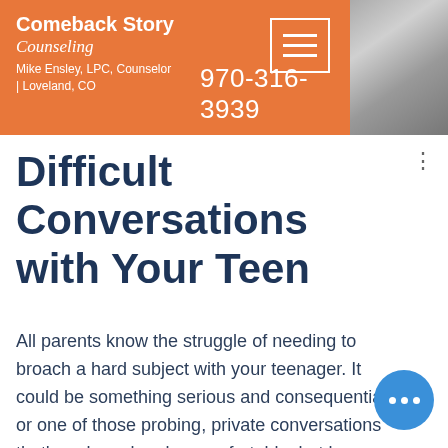Comeback Story Counseling
Mike Ensley, LPC, Counselor | Loveland, CO
970-316-3939
[Figure (screenshot): Hamburger menu icon — three horizontal white lines in a white-bordered rectangle, on orange background]
[Figure (photo): Partial black and white photo of a person in upper right corner]
Difficult Conversations with Your Teen
All parents know the struggle of needing to broach a hard subject with your teenager. It could be something serious and consequential, or one of those probing, private conversations that's awkward and uncomfortable, but less necessary. As clumsy and unprepared as we often feel for these